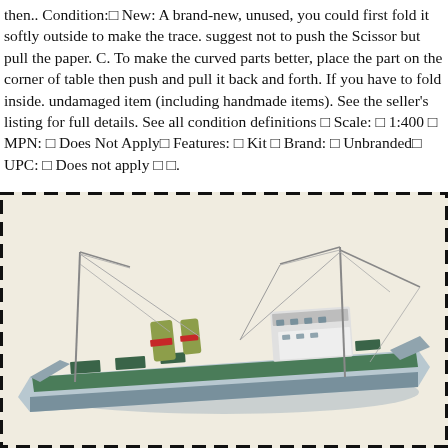then.. Condition: New: A brand-new, unused, you could first fold it softly outside to make the trace. suggest not to push the Scissor but pull the paper. C. To make the curved parts better, place the part on the corner of table then push and pull it back and forth. If you have to fold inside. undamaged item (including handmade items). See the seller's listing for full details. See all condition definitions  Scale:  1:400  MPN:  Does Not Apply Features:  Kit  Brand:  Unbranded UPC:  Does not apply  .
[Figure (photo): A detailed paper model of a cargo/merchant ship viewed from a three-quarter angle, showing green deck, white superstructure, rigging masts with cables, yellow/green funnels with red band, positioned against a light beige background. The image is enclosed in a dashed black border.]